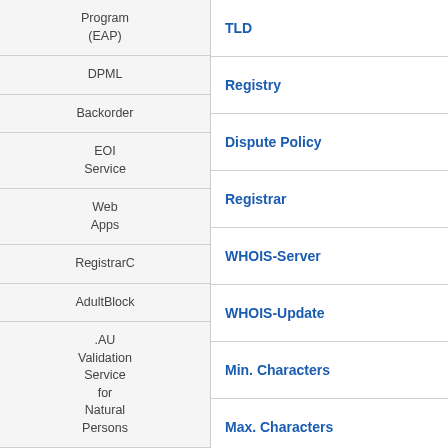| Navigation | Content |
| --- | --- |
| Program (EAP) | TLD |
| DPML | Registry |
| Backorder | Dispute Policy |
| EOI Service | Registrar |
|  | WHOIS-Server |
| Web Apps | WHOIS-Update |
| RegistrarC | Min. Characters |
| AdultBlock | Max. Characters |
|  | Character Set |
| .AU Validation Service for Natural Persons |  |
|  | Limitations |
| API & SDK |  |
| Domain API |  |